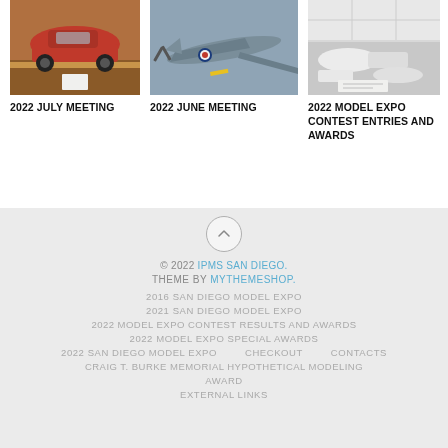[Figure (photo): Red classic car model on display table]
[Figure (photo): WWII era airplane model, grey/blue color scheme]
[Figure (photo): White scale model contest entries on table]
2022 JULY MEETING
2022 JUNE MEETING
2022 MODEL EXPO CONTEST ENTRIES AND AWARDS
© 2022 IPMS SAN DIEGO. THEME BY MYTHEMESHOP. 2016 SAN DIEGO MODEL EXPO 2021 SAN DIEGO MODEL EXPO 2022 MODEL EXPO CONTEST RESULTS AND AWARDS 2022 MODEL EXPO SPECIAL AWARDS 2022 SAN DIEGO MODEL EXPO  CHECKOUT  CONTACTS CRAIG T. BURKE MEMORIAL HYPOTHETICAL MODELING AWARD EXTERNAL LINKS